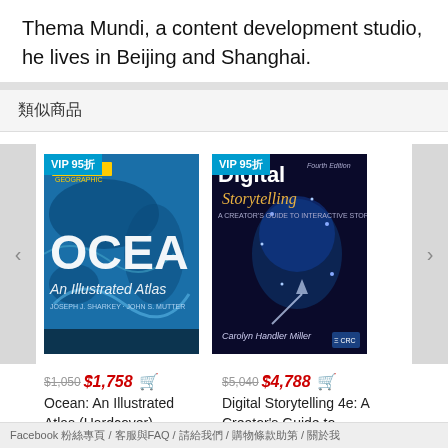Thema Mundi, a content development studio, he lives in Beijing and Shanghai.
類似商品
[Figure (photo): Book cover: Ocean: An Illustrated Atlas with blue ocean/world map imagery. VIP 95折 badge.]
$1,050 $1,758 [cart icon]
Ocean: An Illustrated Atlas (Hardcover)
[Figure (photo): Book cover: Digital Storytelling 4e with digital human head with stars. VIP 95折 badge.]
$5,040 $4,788 [cart icon]
Digital Storytelling 4e: A Creator's Guide to Interactive
Facebook 粉絲專頁 / 客服與FAQ / 請給我們 / 購物條款助第 / 關於我